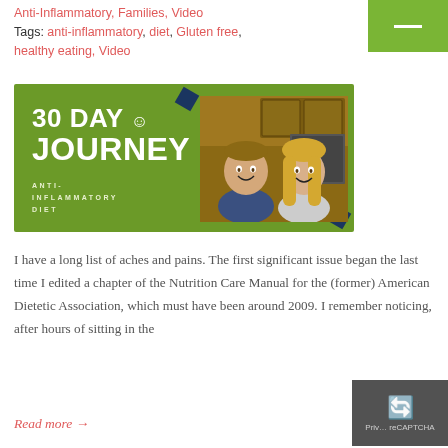Anti-Inflammatory, Families, Video
Tags: anti-inflammatory, diet, Gluten free, healthy eating, Video
[Figure (photo): 30 Day Journey Anti-Inflammatory Diet promotional image with green background and photo of a man and woman smiling]
I have a long list of aches and pains. The first significant issue began the last time I edited a chapter of the Nutrition Care Manual for the (former) American Dietetic Association, which must have been around 2009. I remember noticing, after hours of sitting in the
Read more →